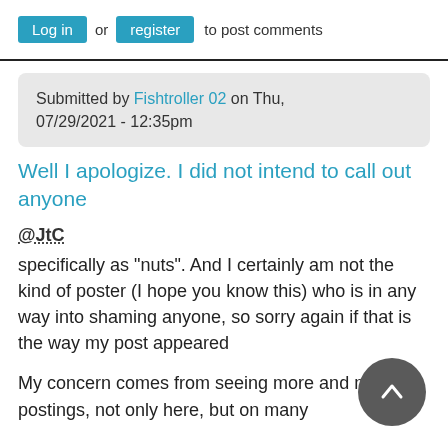Log in or register to post comments
Submitted by Fishtroller 02 on Thu, 07/29/2021 - 12:35pm
Well I apologize. I did not intend to call out anyone
@JtC
specifically as "nuts". And I certainly am not the kind of poster (I hope you know this) who is in any way into shaming anyone, so sorry again if that is the way my post appeared
My concern comes from seeing more and more postings, not only here, but on many